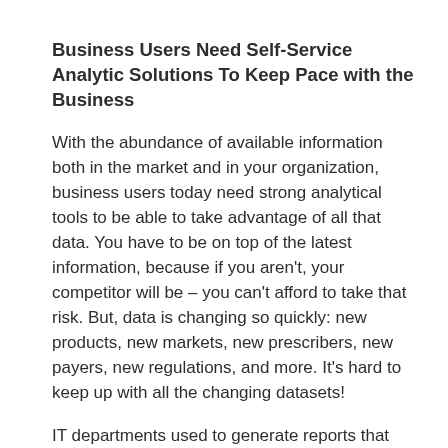Business Users Need Self-Service Analytic Solutions To Keep Pace with the Business
With the abundance of available information both in the market and in your organization, business users today need strong analytical tools to be able to take advantage of all that data. You have to be on top of the latest information, because if you aren't, your competitor will be – you can't afford to take that risk. But, data is changing so quickly: new products, new markets, new prescribers, new payers, new regulations, and more. It's hard to keep up with all the changing datasets!
IT departments used to generate reports that